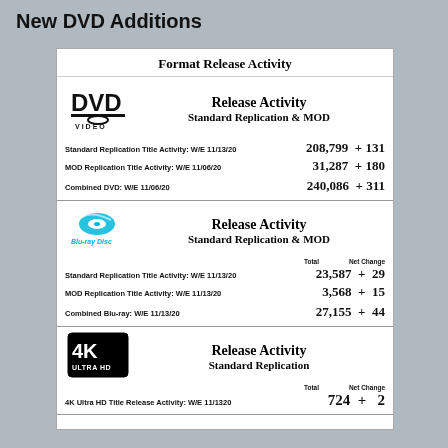New DVD Additions
|  | Total | Net Change |
| --- | --- | --- |
| Standard Replication Title Activity: W/E 11/13/20 | 208,799 | + 131 |
| MOD Replication Title Activity: W/E 11/06/20 | 31,287 | + 180 |
| Combined DVD: W/E 11/06/20 | 240,086 | + 311 |
| Standard Replication Title Activity: W/E 11/13/20 | 23,587 | + 29 |
| MOD Replication Title Activity: W/E 11/13/20 | 3,568 | + 15 |
| Combined Blu-ray: W/E 11/13/20 | 27,155 | + 44 |
| 4K Ultra HD Title Release Activity: W/E 11/1320 | 724 | + 2 |